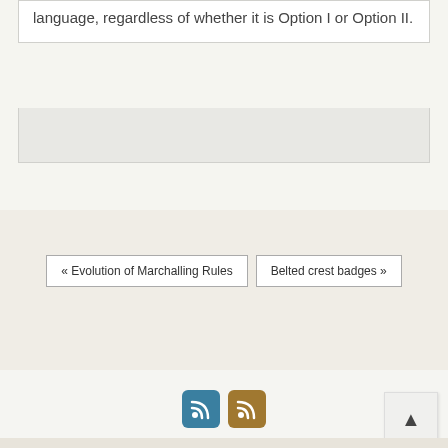language, regardless of whether it is Option I or Option II.
« Evolution of Marchalling Rules
Belted crest badges »
[Figure (other): Two RSS feed icons: one blue and one gold/brown]
▲ (Back to top button)